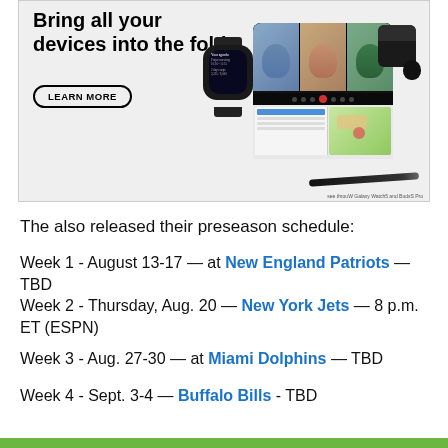[Figure (photo): Samsung advertisement showing 'Bring all your devices into the fold' with a LEARN MORE button and images of a Galaxy Watch, Galaxy Z Fold phone showing a video call, earbuds, and stylus pen on a light gray background.]
The also released their preseason schedule:
Week 1 - August 13-17 — at New England Patriots — TBD
Week 2 - Thursday, Aug. 20 — New York Jets — 8 p.m. ET (ESPN)
Week 3 - Aug. 27-30 — at Miami Dolphins — TBD
Week 4 - Sept. 3-4 — Buffalo Bills - TBD